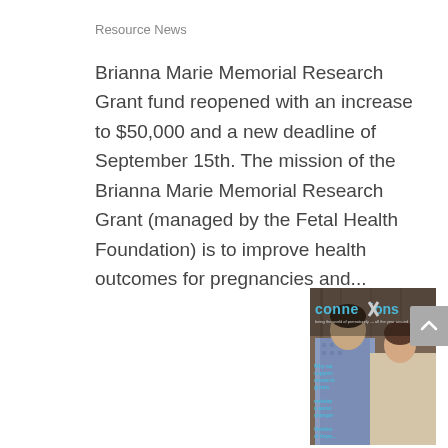Resource News
Brianna Marie Memorial Research Grant fund reopened with an increase to $50,000 and a new deadline of September 15th. The mission of the Brianna Marie Memorial Research Grant (managed by the Fetal Health Foundation) is to improve health outcomes for pregnancies and...
[Figure (photo): Cover of 'connexions' magazine showing a couple, with text about supporting research grants, website as a game changer, and families of hope.]